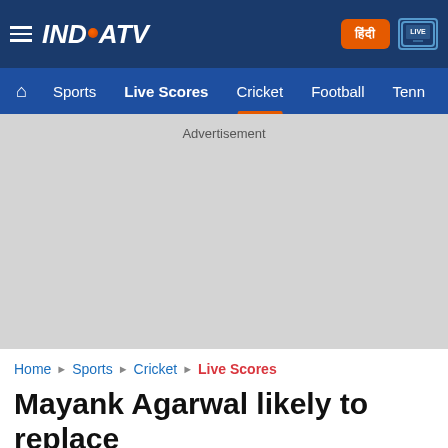INDIA TV — Navigation header with hamburger menu, logo, Hindi button, Live TV button, and nav links: Sports, Live Scores, Cricket, Football, Tenn...
[Figure (screenshot): Advertisement placeholder area (grey background)]
Advertisement
Home › Sports › Cricket › Live Scores
Mayank Agarwal likely to replace